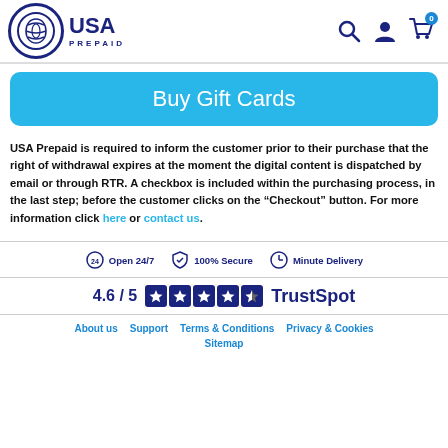[Figure (logo): USA Prepaid logo with circular emblem and text]
Buy Gift Cards
USA Prepaid is required to inform the customer prior to their purchase that the right of withdrawal expires at the moment the digital content is dispatched by email or through RTR. A checkbox is included within the purchasing process, in the last step; before the customer clicks on the “Checkout” button. For more information click here or contact us.
Open 24/7   100% Secure   Minute Delivery
4.6 / 5  TrustSpot
About us   Support   Terms & Conditions   Privacy & Cookies   Sitemap